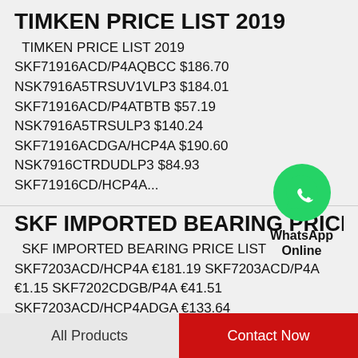TIMKEN PRICE LIST 2019
TIMKEN PRICE LIST 2019 SKF71916ACD/P4AQBCC $186.70 NSK7916A5TRSUV1VLP3 $184.01 SKF71916ACD/P4ATBTB $57.19 NSK7916A5TRSULP3 $140.24 SKF71916ACDGA/HCP4A $190.60 NSK7916CTRDUDLP3 $84.93 SKF71916CD/HCP4A...
[Figure (logo): WhatsApp green phone icon with label 'WhatsApp Online']
SKF IMPORTED BEARING PRICE L...
SKF IMPORTED BEARING PRICE LIST SKF7203ACD/HCP4A €181.19 SKF7203ACD/P4A €1.15 SKF7202CDGB/P4A €41.51 SKF7203ACD/HCP4ADGA €133.64
All Products   Contact Now